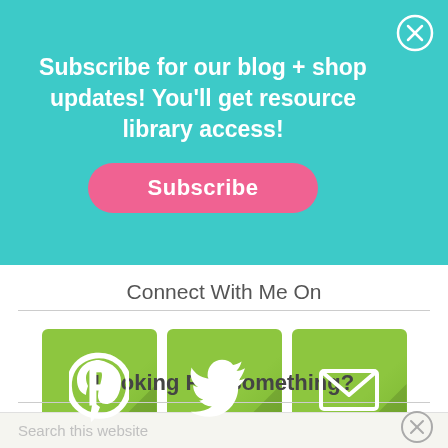Subscribe for our blog + shop updates! You'll get resource library access!
Subscribe
Connect With Me On
[Figure (illustration): Three green square social media icons: Pinterest (P logo), Twitter (bird logo), Email (envelope icon)]
Looking For Something?
Search this website